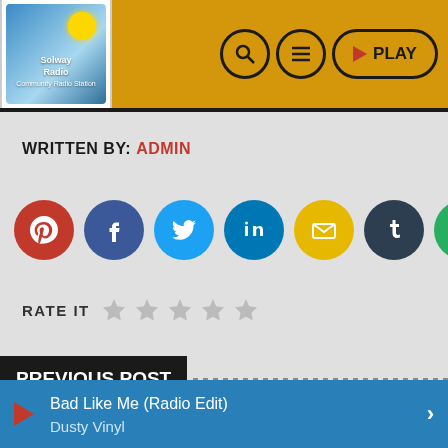[Figure (logo): Solway Radio logo with sun graphic on blue background]
[Figure (infographic): Navigation icons: search, hamburger menu, and PLAY button]
WRITTEN BY: ADMIN
[Figure (infographic): Social sharing icons: Pinterest (red), Facebook (dark blue), Twitter (light blue), LinkedIn (teal), Email (yellow), Tumblr (dark navy), WhatsApp (green)]
RATE IT  ★ ★ ★ ★ ★
PREVIOUS POST
Bad Like Me (Radio Edit)
Dusty Vinyl